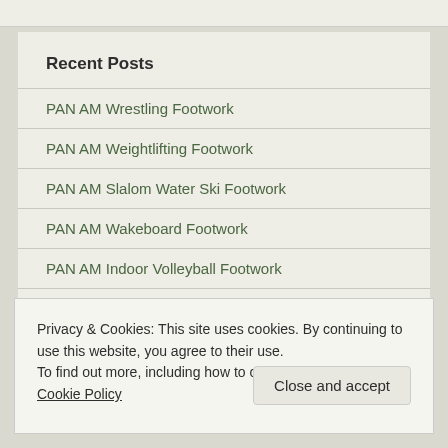Recent Posts
PAN AM Wrestling Footwork
PAN AM Weightlifting Footwork
PAN AM Slalom Water Ski Footwork
PAN AM Wakeboard Footwork
PAN AM Indoor Volleyball Footwork
Privacy & Cookies: This site uses cookies. By continuing to use this website, you agree to their use.
To find out more, including how to control cookies, see here: Cookie Policy
Close and accept